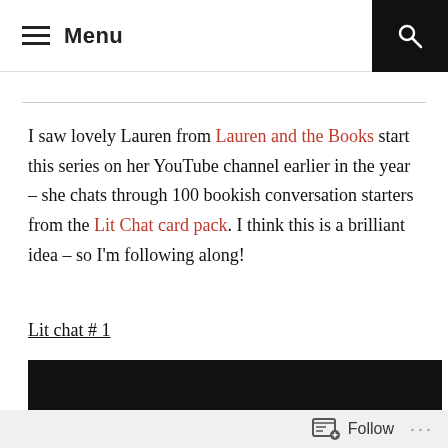Menu
I saw lovely Lauren from Lauren and the Books start this series on her YouTube channel earlier in the year – she chats through 100 bookish conversation starters from the Lit Chat card pack. I think this is a brilliant idea – so I'm following along!
Lit chat # 1
[Figure (photo): Black background card image with text: Here's the impossible question: What's your]
Follow